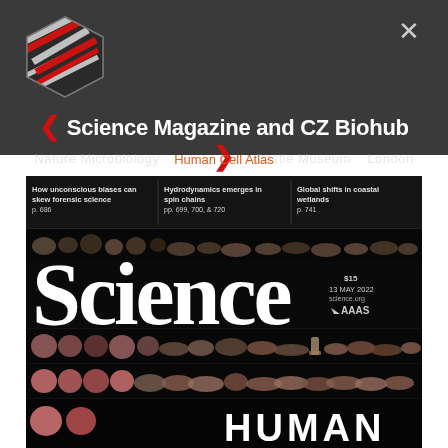[Figure (logo): Stylized hexagonal logo with red and white diagonal stripes on dark gray background, top-left of header]
Science Magazine and CZ Biohub
Human Cell Atlas
[Figure (photo): Science magazine cover dated 13 May 2022, showing rows of illustrated human cell types on black background with large 'Science' title in white serif font. Top strip has three headlines: 'How unconscious biases can skew forensic science p. 686', 'Hydrodynamics emerges in spin chains pp. 699, 700, & 720', 'Global shifts in coastal wetlands p. 741'. Price $15, publisher AAAS. Bottom shows 'HUMAN' text beginning.]